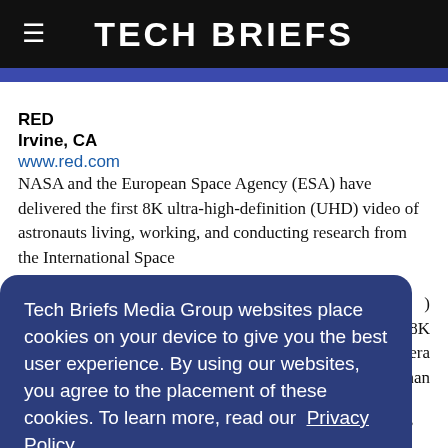Tech Briefs
RED
Irvine, CA
www.red.com
NASA and the European Space Agency (ESA) have delivered the first 8K ultra-high-definition (UHD) video of astronauts living, working, and conducting research from the International Space [Station (ISS)... 8K... camera... than]
[Figure (screenshot): Cookie consent modal overlay with text: 'Tech Briefs Media Group websites place cookies on your device to give you the best user experience. By using our websites, you agree to the placement of these cookies. To learn more, read our Privacy Policy.' and an 'Accept & Continue' button.]
comparison, the average HD consumer television displays up to